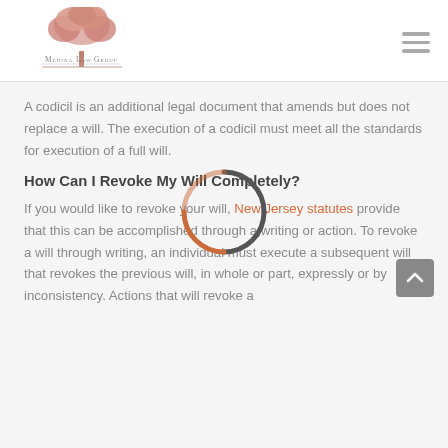Medina Law Group
A codicil is an additional legal document that amends but does not replace a will. The execution of a codicil must meet all the standards for execution of a full will.
How Can I Revoke My Will Completely?
If you would like to revoke your will, New Jersey statutes provide that this can be accomplished through a writing or action. To revoke a will through writing, an individual must execute a subsequent will that revokes the previous will, in whole or part, expressly or by inconsistency. Actions that will revoke a